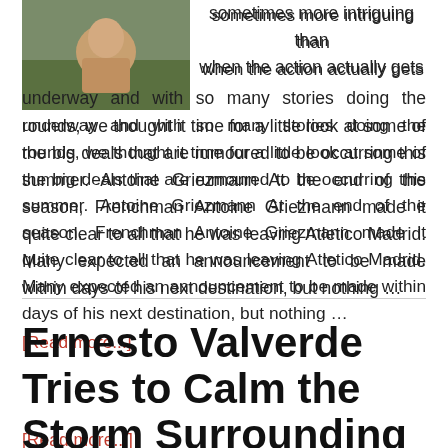[Figure (photo): Sports photo showing a player on a field]
sometimes more intriguing than when the action actually gets underway and with so many stories doing the rounds, we thought it time for a little look at some of the big deals that are rumoured to be occurring this summer. Antoine Griezmann At the end of the season, Frenchman Antoine Griezmann made it quite clear to all that he was leaving Atletico Madrid. Many expected an announcement to be made within days of his next destination, but nothing …
[Read more...]
Ernesto Valverde Tries to Calm the Storm Surrounding Liverpool